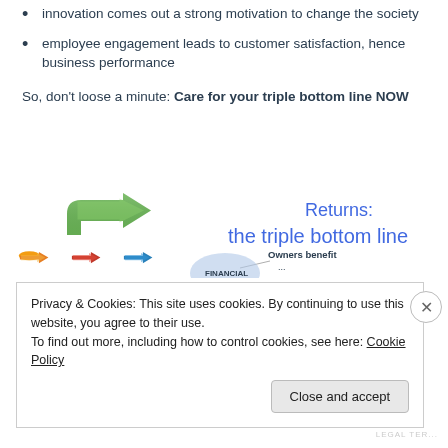innovation comes out a strong motivation to change the society
employee engagement leads to customer satisfaction, hence business performance
So, don't loose a minute: Care for your triple bottom line NOW
[Figure (infographic): Infographic showing green arrows (recycling/triple bottom line symbol) and small colorful arrows below, with text 'Returns: the triple bottom line', 'Owners benefit ...', and a circle labeled 'FINANCIAL']
Privacy & Cookies: This site uses cookies. By continuing to use this website, you agree to their use.
To find out more, including how to control cookies, see here: Cookie Policy